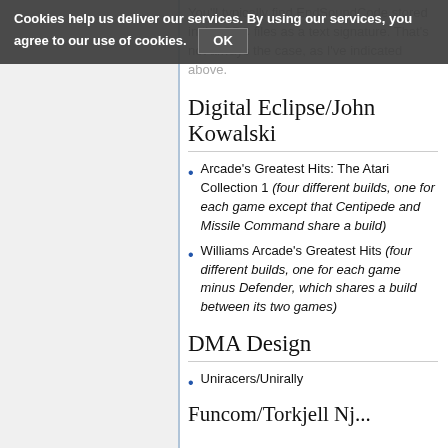You'll typically find EndSoundCode stored in the SPC files as a text signature. That's not always the case, as I've indicated above.
Digital Eclipse/John Kowalski
Arcade's Greatest Hits: The Atari Collection 1 (four different builds, one for each game except that Centipede and Missile Command share a build)
Williams Arcade's Greatest Hits (four different builds, one for each game minus Defender, which shares a build between its two games)
DMA Design
Uniracers/Unirally
Funcom/Torkjell Nj...